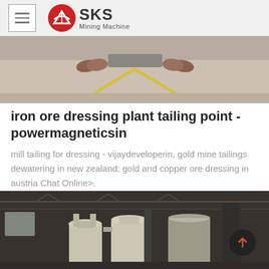SKS Mining Machine
[Figure (photo): Top portion of a photo showing a concrete floor with yellow markings and feet/boots visible at the top]
iron ore dressing plant tailing point - powermagneticsin
mill tailing for dressing - vijaydeveloperin, gold mine tailings dewatering in new zealand; gold and copper ore dressing in austria Chat Online>.
[Figure (photo): Interior of an industrial facility/mining plant showing large cream-colored industrial equipment (cyclones/separators) inside a warehouse with steel roof structure]